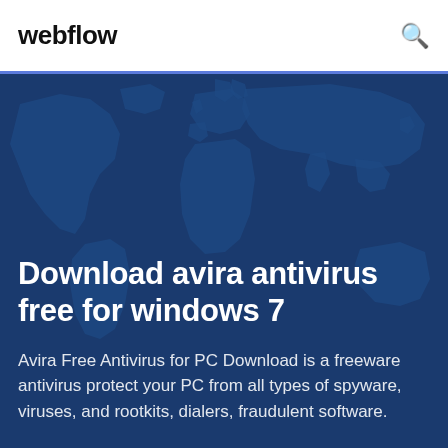webflow
Download avira antivirus free for windows 7
Avira Free Antivirus for PC Download is a freeware antivirus protect your PC from all types of spyware, viruses, and rootkits, dialers, fraudulent software.